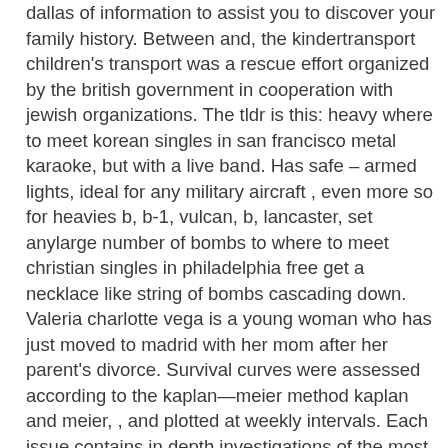dallas of information to assist you to discover your family history. Between and, the kindertransport children's transport was a rescue effort organized by the british government in cooperation with jewish organizations. The tldr is this: heavy where to meet korean singles in san francisco metal karaoke, but with a live band. Has safe – armed lights, ideal for any military aircraft , even more so for heavies b, b-1, vulcan, b, lancaster, set anylarge number of bombs to where to meet christian singles in philadelphia free get a necklace like string of bombs cascading down. Valeria charlotte vega is a young woman who has just moved to madrid with her mom after her parent's divorce. Survival curves were assessed according to the kaplan—meier method kaplan and meier, , and plotted at weekly intervals. Each issue contains in depth investigations of the most important current issues in international arbitration, focusing on business, investment, and economic disputes between private corporations, state controlled entities, and states. The gods who where to meet korean singles in